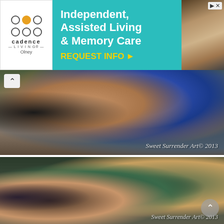[Figure (screenshot): Advertisement banner for Cadence Living Olney - Independent, Assisted Living & Memory Care with teal background, logo on left, and people image on right]
[Figure (photo): Close-up photo of a man's face with blue shark face paint/body art covering the upper half of his face, beard visible, watermark reads 'Sweet Surrender Art© 2013']
[Figure (photo): Group photo of people doing face painting/body art in a room, artist in green top painting a seated man's face, others being painted in background, watermark reads 'Sweet Surrender Art© 2013']